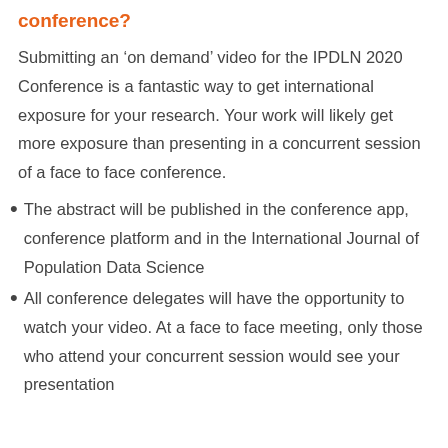conference?
Submitting an ‘on demand’ video for the IPDLN 2020 Conference is a fantastic way to get international exposure for your research. Your work will likely get more exposure than presenting in a concurrent session of a face to face conference.
The abstract will be published in the conference app, conference platform and in the International Journal of Population Data Science
All conference delegates will have the opportunity to watch your video. At a face to face meeting, only those who attend your concurrent session would see your presentation